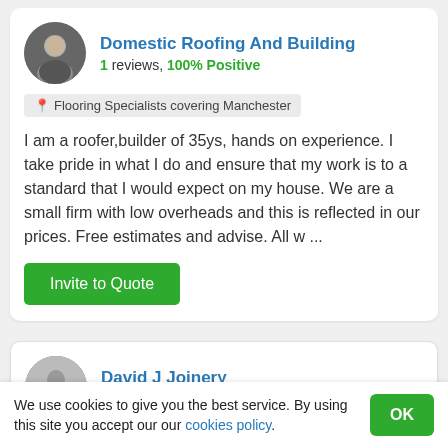Domestic Roofing And Building
1 reviews, 100% Positive
Flooring Specialists covering Manchester
I am a roofer,builder of 35ys, hands on experience. I take pride in what I do and ensure that my work is to a standard that I would expect on my house. We are a small firm with low overheads and this is reflected in our prices. Free estimates and advise. All w ...
Invite to Quote
David J Joinery
1 reviews, 100% Positive
We use cookies to give you the best service. By using this site you accept our our cookies policy.